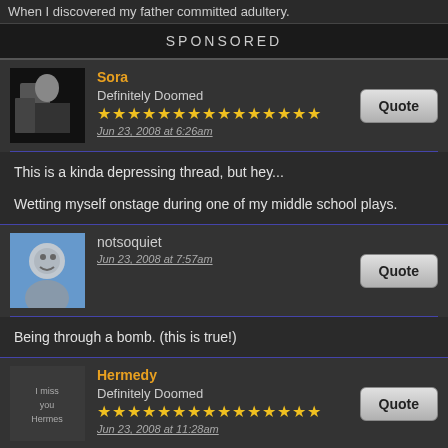When I discovered my father committed adultery.
SPONSORED
[Figure (photo): Avatar of user Sora, dark dramatic image]
Sora
Definitely Doomed
★★★★★★★★★★★★★★★
Jun 23, 2008 at 6:26am
This is a kinda depressing thread, but hey...

Wetting myself onstage during one of my middle school plays.
[Figure (photo): Avatar of user notsoquiet, generic silhouette on blue background]
notsoquiet
Jun 23, 2008 at 7:57am
Being through a bomb. (this is true!)
[Figure (photo): Avatar of user Hermedy, text saying I miss you Hermes]
Hermedy
Definitely Doomed
★★★★★★★★★★★★★★★
Jun 23, 2008 at 11:28am